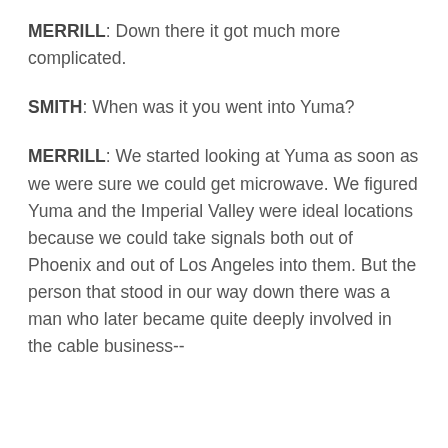MERRILL: Down there it got much more complicated.
SMITH: When was it you went into Yuma?
MERRILL: We started looking at Yuma as soon as we were sure we could get microwave. We figured Yuma and the Imperial Valley were ideal locations because we could take signals both out of Phoenix and out of Los Angeles into them. But the person that stood in our way down there was a man who later became quite deeply involved in the cable business--